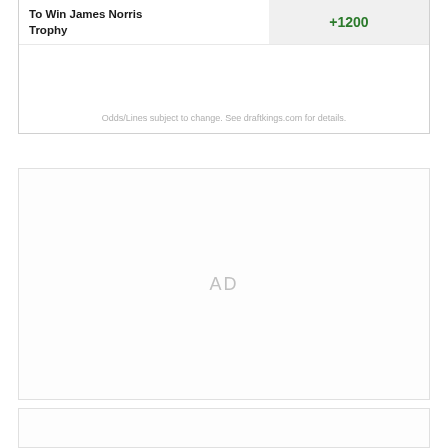|  |  |
| --- | --- |
| To Win James Norris Trophy | +1200 |
Odds/Lines subject to change. See draftkings.com for details.
[Figure (other): Advertisement placeholder box (AD)]
[Figure (other): Advertisement placeholder box (bottom strip)]